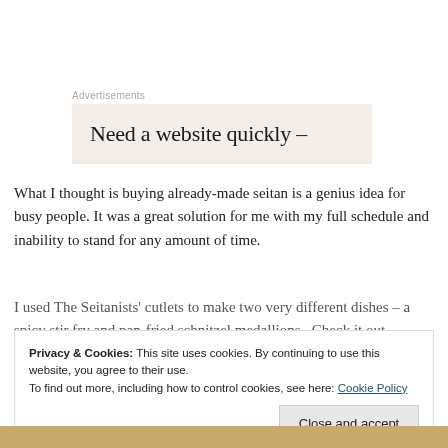Advertisements
[Figure (other): Advertisement banner with text 'Need a website quickly –' on a light beige background]
What I thought is buying already-made seitan is a genius idea for busy people. It was a great solution for me with my full schedule and inability to stand for any amount of time.
I used The Seitanists' cutlets to make two very different dishes – a spicy stir fry and pan-fried schnitzel medallions.  Check it out.
Privacy & Cookies: This site uses cookies. By continuing to use this website, you agree to their use.
To find out more, including how to control cookies, see here: Cookie Policy
Close and accept